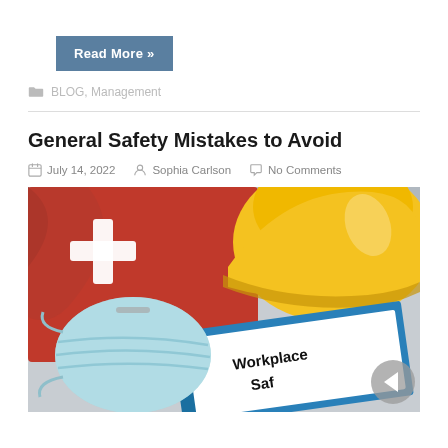Read More »
BLOG, Management
General Safety Mistakes to Avoid
July 14, 2022  Sophia Carlson  No Comments
[Figure (photo): Workplace safety equipment including a red first aid kit with white cross, yellow hard hat, light blue face mask/respirator, and a blue binder labeled 'Workplace Safety']